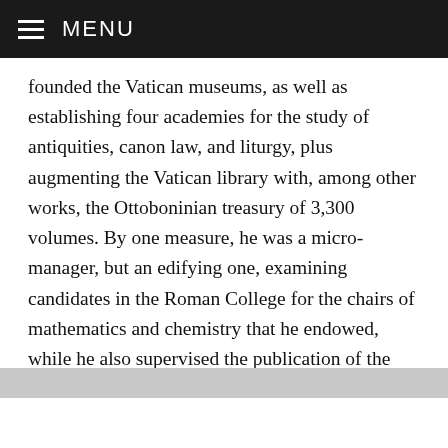MENU
founded the Vatican museums, as well as establishing four academies for the study of antiquities, canon law, and liturgy, plus augmenting the Vatican library with, among other works, the Ottoboninian treasury of 3,300 volumes. By one measure, he was a micro-manager, but an edifying one, examining candidates in the Roman College for the chairs of mathematics and chemistry that he endowed, while he also supervised the publication of the works of Galileo. In matters academic and spiritual, he cast a suspicious eye on the Jesuits, and entrusted a reform of the Society in 1758 to Cardinal Saldanya, but that ceased with
0 SHARES